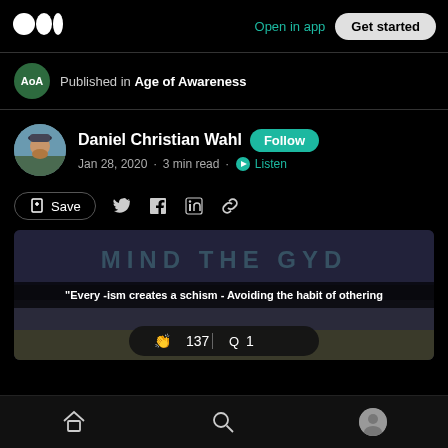Medium logo | Open in app | Get started
Published in Age of Awareness
Daniel Christian Wahl · Follow · Jan 28, 2020 · 3 min read · Listen
Save | Twitter | Facebook | LinkedIn | Link
[Figure (screenshot): Article header image with graffiti-style text 'MIND THE GYD' and overlay text: '"Every -ism creates a schism - Avoiding the habit of othering'. A clap/comment bar shows 137 claps and 1 comment.]
Home | Search | Profile navigation icons